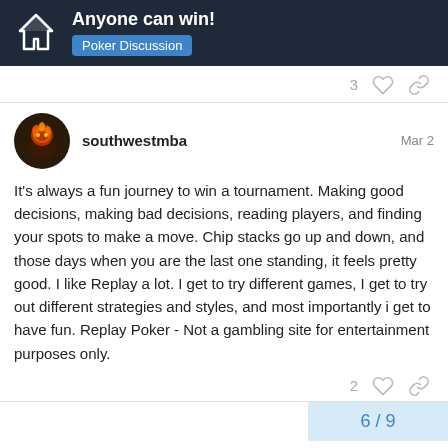Anyone can win! Poker Discussion
southwestmba  Mar 2
It's always a fun journey to win a tournament. Making good decisions, making bad decisions, reading players, and finding your spots to make a move. Chip stacks go up and down, and those days when you are the last one standing, it feels pretty good. I like Replay a lot. I get to try different games, I get to try out different strategies and styles, and most importantly i get to have fun. Replay Poker - Not a gambling site for entertainment purposes only.
6 / 9